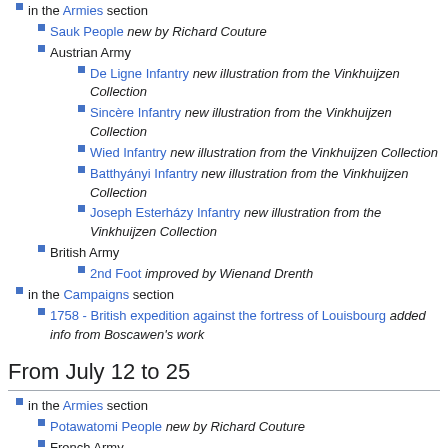in the Armies section
Sauk People new by Richard Couture
Austrian Army
De Ligne Infantry new illustration from the Vinkhuijzen Collection
Sincère Infantry new illustration from the Vinkhuijzen Collection
Wied Infantry new illustration from the Vinkhuijzen Collection
Batthyányi Infantry new illustration from the Vinkhuijzen Collection
Joseph Esterházy Infantry new illustration from the Vinkhuijzen Collection
British Army
2nd Foot improved by Wienand Drenth
in the Campaigns section
1758 - British expedition against the fortress of Louisbourg added info from Boscawen's work
From July 12 to 25
in the Armies section
Potawatomi People new by Richard Couture
French Army
Apchon Dragons campaigns of 1761 and 1762, by Richard Couture